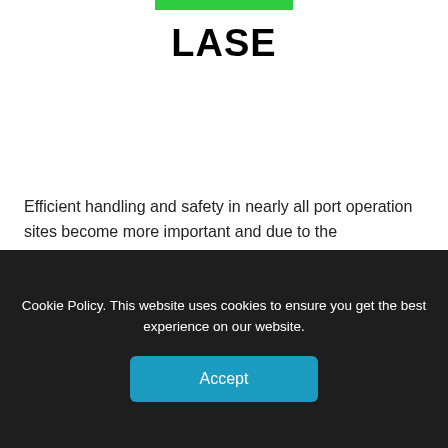LASE
Efficient handling and safety in nearly all port operation sites become more important and due to the permanently competitive markets our…
Read More →
Preferred Partner
Cookie Policy. This website uses cookies to ensure you get the best experience on our website.
Accept